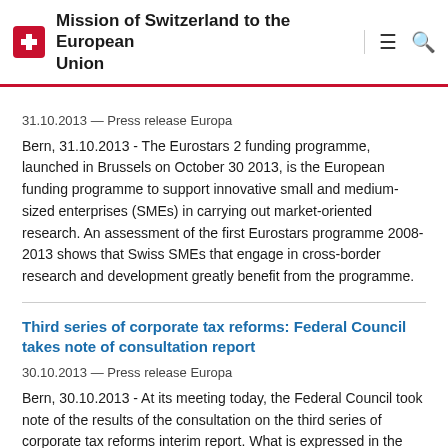Mission of Switzerland to the European Union
31.10.2013 — Press release Europa
Bern, 31.10.2013 - The Eurostars 2 funding programme, launched in Brussels on October 30 2013, is the European funding programme to support innovative small and medium-sized enterprises (SMEs) in carrying out market-oriented research. An assessment of the first Eurostars programme 2008-2013 shows that Swiss SMEs that engage in cross-border research and development greatly benefit from the programme.
Third series of corporate tax reforms: Federal Council takes note of consultation report
30.10.2013 — Press release Europa
Bern, 30.10.2013 - At its meeting today, the Federal Council took note of the results of the consultation on the third series of corporate tax reforms interim report. What is expressed in the opinions is that the